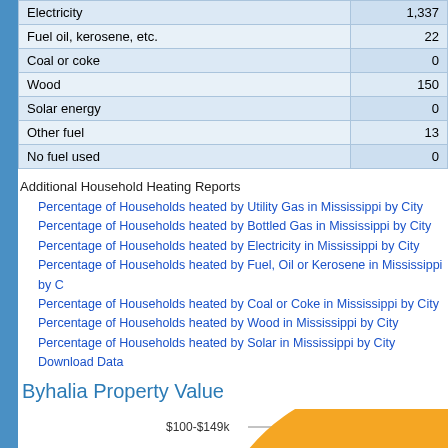|  |  |
| --- | --- |
| Electricity | 1,337 |
| Fuel oil, kerosene, etc. | 22 |
| Coal or coke | 0 |
| Wood | 150 |
| Solar energy | 0 |
| Other fuel | 13 |
| No fuel used | 0 |
Additional Household Heating Reports
Percentage of Households heated by Utility Gas in Mississippi by City
Percentage of Households heated by Bottled Gas in Mississippi by City
Percentage of Households heated by Electricity in Mississippi by City
Percentage of Households heated by Fuel, Oil or Kerosene in Mississippi by City
Percentage of Households heated by Coal or Coke in Mississippi by City
Percentage of Households heated by Wood in Mississippi by City
Percentage of Households heated by Solar in Mississippi by City
Download Data
Byhalia Property Value
[Figure (pie-chart): Partial pie chart showing Byhalia Property Value distribution. A label '$100-$149k' with a line pointing to a segment is visible. The chart shows orange/amber colored pie slices at the bottom of the page, partially cut off.]